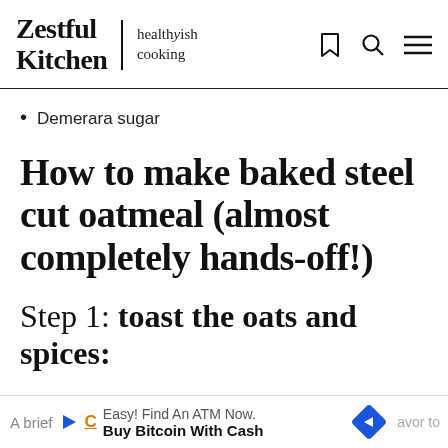Zestful Kitchen | healthyish cooking
Demerara sugar
How to make baked steel cut oatmeal (almost completely hands-off!)
Step 1: toast the oats and spices:
A brief... Easy! Find An ATM Now. Buy Bitcoin With Cash ...avor to